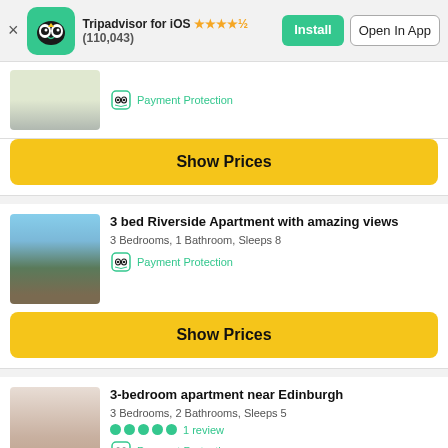[Figure (screenshot): Tripadvisor app banner with owl logo, star rating (110,043 reviews), Install and Open In App buttons]
[Figure (photo): Partial thumbnail of a house/property]
Payment Protection
Show Prices
3 bed Riverside Apartment with amazing views
3 Bedrooms, 1 Bathroom, Sleeps 8
Payment Protection
Show Prices
3-bedroom apartment near Edinburgh
3 Bedrooms, 2 Bathrooms, Sleeps 5
1 review
Payment Protection